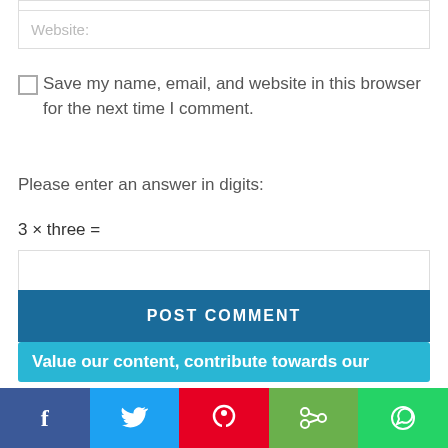Website:
Save my name, email, and website in this browser for the next time I comment.
Please enter an answer in digits:
3 × three =
POST COMMENT
Value our content, contribute towards our
f
Twitter icon
Pinterest icon
Share icon
WhatsApp icon